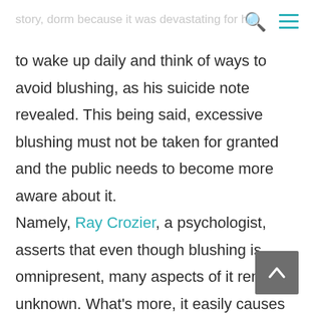story, dorm because it was devastating for hi…
to wake up daily and think of ways to avoid blushing, as his suicide note revealed. This being said, excessive blushing must not be taken for granted and the public needs to become more aware about it.

Namely, Ray Crozier, a psychologist, asserts that even though blushing is omnipresent, many aspects of it remain unknown. What's more, it easily causes changes in our visible